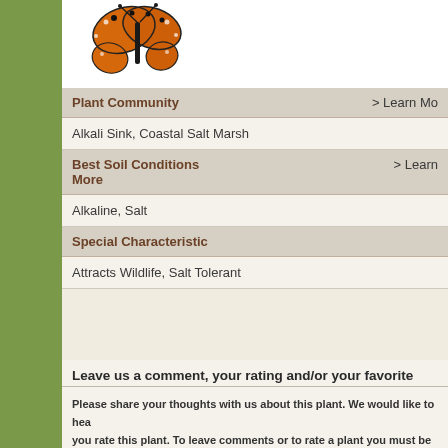[Figure (illustration): Monarch butterfly image in upper left area of the page]
| Plant Community | > Learn Mo |
| Alkali Sink, Coastal Salt Marsh |  |
| Best Soil Conditions | > Learn More |
| Alkaline, Salt |  |
| Special Characteristic |  |
| Attracts Wildlife, Salt Tolerant |  |
Leave us a comment, your rating and/or your favorite
Please share your thoughts with us about this plant. We would like to hear from you if you rate this plant. To leave comments or to rate a plant you must be reg
[Figure (screenshot): Browse for Images button and five empty star rating widgets, plus a comment text box area]